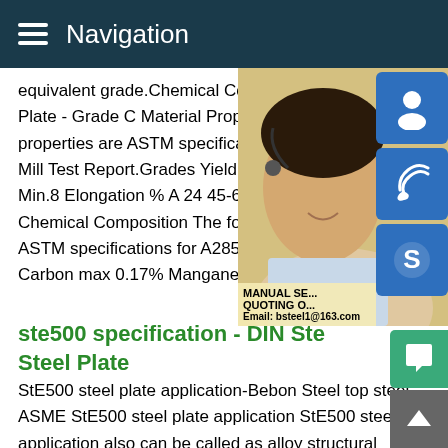Navigation
equivalent grade.Chemical CompositionA... Plate - Grade C Material Properties The fo properties are ASTM specifications and wi Mill Test Report.Grades Yield Point (ksi) Te Min.8 Elongation % A 24 45-65 27 B 27 50 Chemical Composition The following comp ASTM specifications for A285 grades usin Carbon max 0.17% Manganese max
[Figure (photo): Woman with headset smiling, customer service representative photo with blue icon buttons for chat, phone/Skype overlaid on right side. Overlay text: MANUAL SE, QUOTING O, Email: bsteel1@163.com]
ste500 specification - DIN Ste Steel Plate
StE500 steel plate application-Bebon Steel top steel ASME StE500 steel plate application StE500 steel plate application also can be called as alloy structural steel.Alloy steel means this kind of gr contains some special alloy composition.Alloy steel plate application is very wide,as Machine,pressure vessel,construct